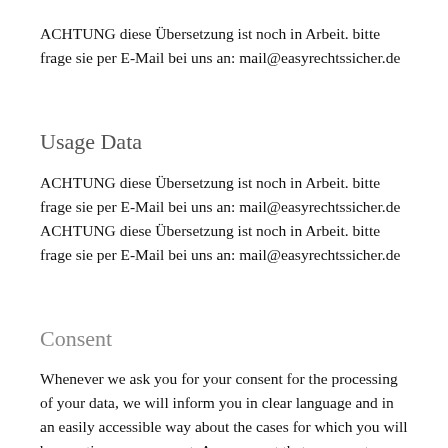ACHTUNG diese Übersetzung ist noch in Arbeit. bitte frage sie per E-Mail bei uns an: mail@easyrechtssicher.de
Usage Data
ACHTUNG diese Übersetzung ist noch in Arbeit. bitte frage sie per E-Mail bei uns an: mail@easyrechtssicher.de ACHTUNG diese Übersetzung ist noch in Arbeit. bitte frage sie per E-Mail bei uns an: mail@easyrechtssicher.de
Consent
Whenever we ask you for your consent for the processing of your data, we will inform you in clear language and in an easily accessible way about the cases for which you will be granting your consent. Any consent that you grant us for the purposes of processing your data...